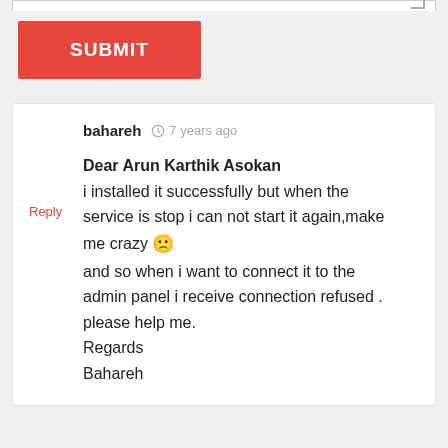[Figure (screenshot): Top edge of a textarea input with resize handle indicator in top-right corner]
SUBMIT
bahareh  7 years ago

Dear Arun Karthik Asokan
i installed it successfully but when the service is stop i can not start it again,make me crazy 🙁
and so when i want to connect it to the admin panel i receive connection refused .
please help me.
Regards
Bahareh